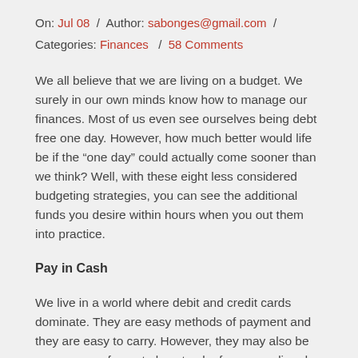On: Jul 08  /  Author: sabonges@gmail.com  /
Categories: Finances  /  58 Comments
We all believe that we are living on a budget. We surely in our own minds know how to manage our finances. Most of us even see ourselves being debt free one day. However, how much better would life be if the “one day” could actually come sooner than we think? Well, with these eight less considered budgeting strategies, you can see the additional funds you desire within hours when you out them into practice.
Pay in Cash
We live in a world where debit and credit cards dominate. They are easy methods of payment and they are easy to carry. However, they may also be an easy way for us to lose track of our spending due to their convenience.
When you check your account online or at the ATM, you can get a realistic number of what you have available to spend. This of course is as long as all transactions and outstanding checks have